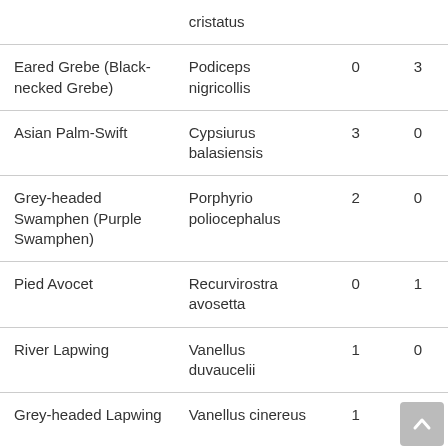| Common Name | Scientific Name | Col3 | Col4 |
| --- | --- | --- | --- |
| (cristatus) |  |  |  |
| Eared Grebe (Black-necked Grebe) | Podiceps nigricollis | 0 | 3 |
| Asian Palm-Swift | Cypsiurus balasiensis | 3 | 0 |
| Grey-headed Swamphen (Purple Swamphen) | Porphyrio poliocephalus | 2 | 0 |
| Pied Avocet | Recurvirostra avosetta | 0 | 1 |
| River Lapwing | Vanellus duvaucelii | 1 | 0 |
| Grey-headed Lapwing | Vanellus cinereus | 1 | 0 |